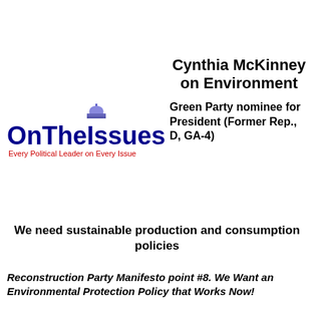[Figure (logo): OnTheIssues logo with capitol dome above text 'OnTheIssues' in blue and red, with tagline 'Every Political Leader on Every Issue' in red]
Cynthia McKinney on Environment
Green Party nominee for President (Former Rep., D, GA-4)
We need sustainable production and consumption policies
Reconstruction Party Manifesto point #8. We Want an Environmental Protection Policy that Works Now!